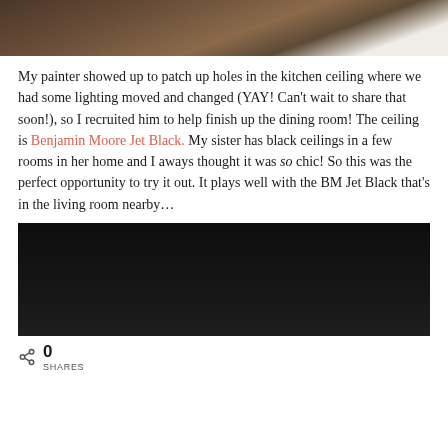[Figure (photo): Close-up photo of a dark wood surface, possibly flooring or ceiling planks, with a white wall or trim visible in the upper right corner.]
My painter showed up to patch up holes in the kitchen ceiling where we had some lighting moved and changed (YAY! Can't wait to share that soon!), so I recruited him to help finish up the dining room! The ceiling is Benjamin Moore Jet Black. My sister has black ceilings in a few rooms in her home and I aways thought it was so chic! So this was the perfect opportunity to try it out. It plays well with the BM Jet Black that's in the living room nearby…
[Figure (photo): A very dark, nearly black photo showing a painted black ceiling or dark interior surface.]
0
SHARES